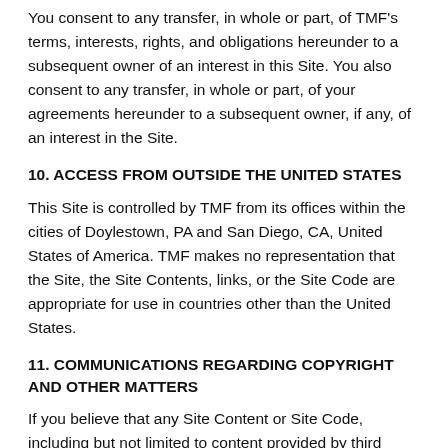You consent to any transfer, in whole or part, of TMF's terms, interests, rights, and obligations hereunder to a subsequent owner of an interest in this Site. You also consent to any transfer, in whole or part, of your agreements hereunder to a subsequent owner, if any, of an interest in the Site.
10. ACCESS FROM OUTSIDE THE UNITED STATES
This Site is controlled by TMF from its offices within the cities of Doylestown, PA and San Diego, CA, United States of America. TMF makes no representation that the Site, the Site Contents, links, or the Site Code are appropriate for use in countries other than the United States.
11. COMMUNICATIONS REGARDING COPYRIGHT AND OTHER MATTERS
If you believe that any Site Content or Site Code, including but not limited to content provided by third parties via Visitor Features, infringes a copyright or other proprietary right, please forward the following information to our Copyright Agent at the address specified